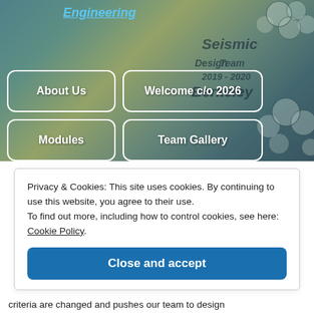[Figure (photo): Hero image showing a person wearing a tie-dye Seismic Design Team 2019-2020 Berkeley shirt, with navigation buttons overlaid: About Us, Welcome c/o 2026, Modules, Team Gallery]
Engineering
About Us
Welcome c/o 2026
Modules
Team Gallery
Privacy & Cookies: This site uses cookies. By continuing to use this website, you agree to their use.
To find out more, including how to control cookies, see here: Cookie Policy
Close and accept
criteria are changed and pushes our team to design